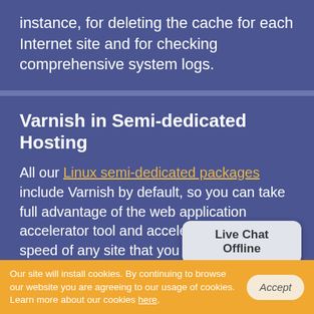instance, for deleting the cache for each Internet site and for checking comprehensive system logs.
Varnish in Semi-dedicated Hosting
All our Linux semi-dedicated packages include Varnish by default, so you can take full advantage of the web application accelerator tool and accelerate the loading speed of any site that you host on our platform. You'll get 64 megabytes of memory dedicated to Varnish at no additional charge and you will be able to add an instance with no more than a few clicks of the mouse via the Hepsia hosting Control Panel, which comes with the semi-dedicated plans. In case you want more memory, the latter
Our site will install cookies. By continuing to browse our website you are agreeing to our usage of cookies. Learn more about our cookies here.